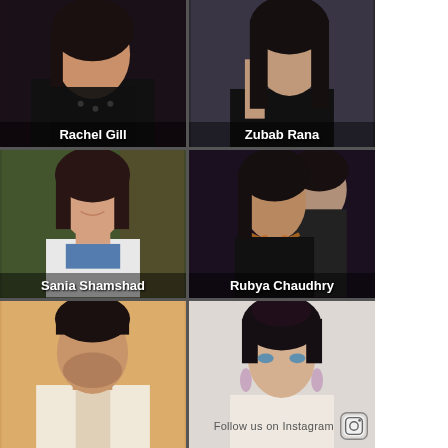[Figure (photo): Grid of 6 celebrity photos: Rachel Gill, Zubab Rana, Sania Shamshad, Rubya Chaudhry, an unidentified man, and an unidentified young woman. Each photo has a name label overlaid at the bottom except the bottom two.]
Follow us on Instagram